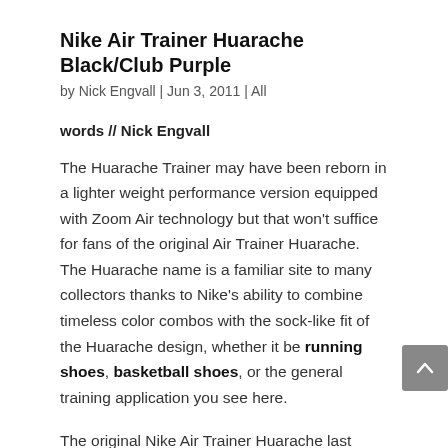Nike Air Trainer Huarache Black/Club Purple
by Nick Engvall | Jun 3, 2011 | All
words // Nick Engvall
The Huarache Trainer may have been reborn in a lighter weight performance version equipped with Zoom Air technology but that won't suffice for fans of the original Air Trainer Huarache. The Huarache name is a familiar site to many collectors thanks to Nike's ability to combine timeless color combos with the sock-like fit of the Huarache design, whether it be running shoes, basketball shoes, or the general training application you see here.
The original Nike Air Trainer Huarache last released in the popular Fresh Water colorway but today's release also uses some colors that sneakerheads should also be familiar with. Club Purple and Platinum are used as accent colors on this new release. The classic cross-